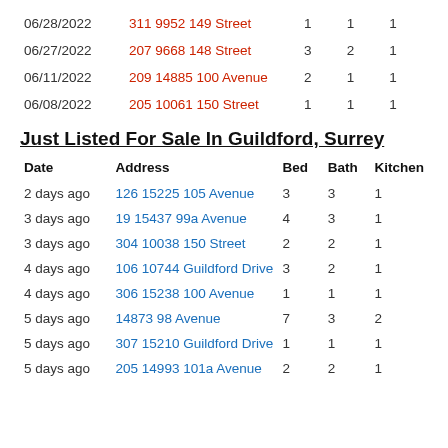| Date | Address | Bed | Bath | Kitchen |
| --- | --- | --- | --- | --- |
| 06/28/2022 | 311 9952 149 Street | 1 | 1 | 1 |
| 06/27/2022 | 207 9668 148 Street | 3 | 2 | 1 |
| 06/11/2022 | 209 14885 100 Avenue | 2 | 1 | 1 |
| 06/08/2022 | 205 10061 150 Street | 1 | 1 | 1 |
Just Listed For Sale In Guildford, Surrey
| Date | Address | Bed | Bath | Kitchen |
| --- | --- | --- | --- | --- |
| 2 days ago | 126 15225 105 Avenue | 3 | 3 | 1 |
| 3 days ago | 19 15437 99a Avenue | 4 | 3 | 1 |
| 3 days ago | 304 10038 150 Street | 2 | 2 | 1 |
| 4 days ago | 106 10744 Guildford Drive | 3 | 2 | 1 |
| 4 days ago | 306 15238 100 Avenue | 1 | 1 | 1 |
| 5 days ago | 14873 98 Avenue | 7 | 3 | 2 |
| 5 days ago | 307 15210 Guildford Drive | 1 | 1 | 1 |
| 5 days ago | 205 14993 101a Avenue | 2 | 2 | 1 |